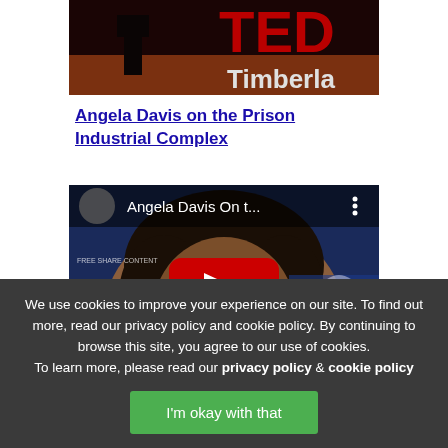[Figure (screenshot): Partial screenshot of a TED talk video thumbnail showing a stage with red TED logo and 'Timberlа' text visible]
Angela Davis on the Prison Industrial Complex
[Figure (screenshot): YouTube video thumbnail for 'Angela Davis On t...' showing Angela Davis smiling, with YouTube play button overlay and menu dots in top right]
We use cookies to improve your experience on our site. To find out more, read our privacy policy and cookie policy. By continuing to browse this site, you agree to our use of cookies. To learn more, please read our privacy policy & cookie policy
I'm okay with that